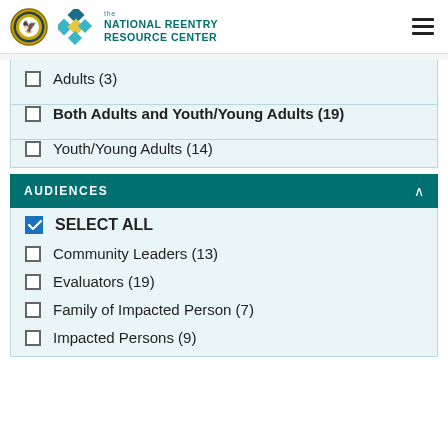the NATIONAL REENTRY RESOURCE CENTER
Adults (3)
Both Adults and Youth/Young Adults (19)
Youth/Young Adults (14)
AUDIENCES
SELECT ALL
Community Leaders (13)
Evaluators (19)
Family of Impacted Person (7)
Impacted Persons (9)